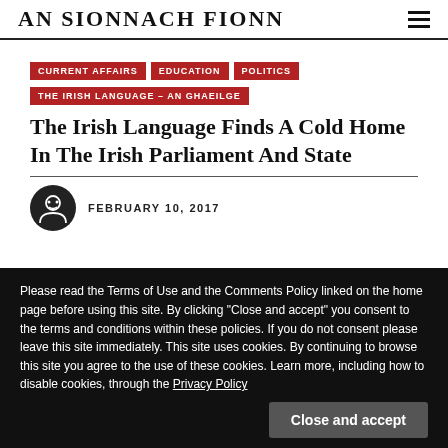AN SIONNACH FIONN
CURRENT AFFAIRS
EDUCATION
POLITICS
THE IRISH LANGUAGE – AN GHAEILGE
The Irish Language Finds A Cold Home In The Irish Parliament And State
FEBRUARY 10, 2017
Please read the Terms of Use and the Comments Policy linked on the home page before using this site. By clicking "Close and accept" you consent to the terms and conditions within these policies. If you do not consent please leave this site immediately. This site uses cookies. By continuing to browse this site you agree to the use of these cookies. Learn more, including how to disable cookies, through the Privacy Policy
Close and accept
hibernophobia of mainstream political unionism in